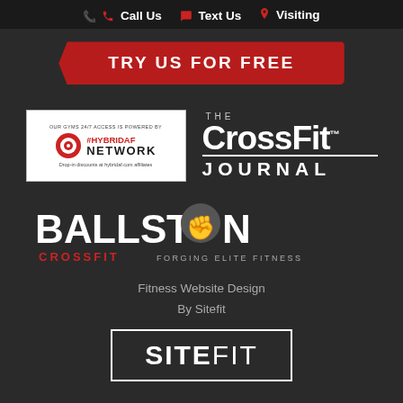Call Us  Text Us  Visiting
TRY US FOR FREE
[Figure (logo): HybridAF Network logo - white background with red target icon and text '#HYBRIDAF NETWORK', tagline 'OUR GYMS 24/7 ACCESS IS POWERED BY' and 'Drop-in discounts at hybridaf.com affiliates']
[Figure (logo): The CrossFit Journal logo - white text on dark background with 'THE', 'CrossFit' in large font, and 'JOURNAL' below a horizontal rule]
[Figure (logo): Ballston CrossFit logo - 'BALLSTON' in bold white with a fist icon replacing the 'O', 'CROSSFIT' in red bold letters, 'FORGING ELITE FITNESS' tagline]
Fitness Website Design
By Sitefit
[Figure (logo): SITEFIT logo - bold white text 'SITE' followed by thin 'FIT', enclosed in a white rectangle border]